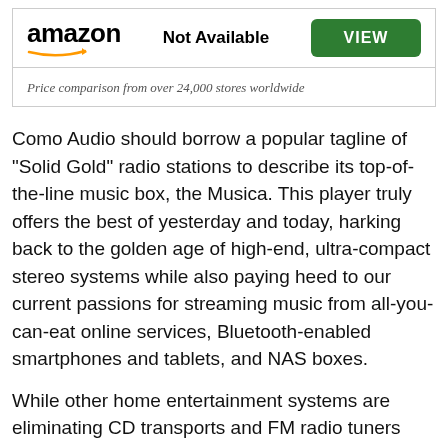[Figure (logo): Amazon logo with orange arrow underneath]
Not Available
VIEW
Price comparison from over 24,000 stores worldwide
Como Audio should borrow a popular tagline of “Solid Gold” radio stations to describe its top-of-the-line music box, the Musica. This player truly offers the best of yesterday and today, harking back to the golden age of high-end, ultra-compact stereo systems while also paying heed to our current passions for streaming music from all-you-can-eat online services, Bluetooth-enabled smartphones and tablets, and NAS boxes.
While other home entertainment systems are eliminating CD transports and FM radio tuners from